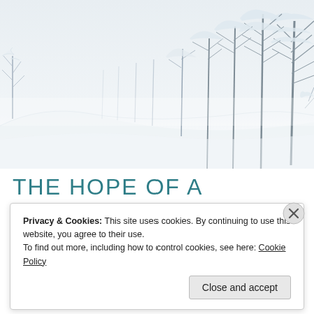[Figure (photo): Winter landscape photograph showing snow-covered trees and a snowy hillside. Bare deciduous trees heavily laden with snow on the right side, with a white snow-covered slope in the foreground. Light, wintry atmosphere with pale blue-grey tones.]
THE HOPE OF A SAVIOUR
Privacy & Cookies: This site uses cookies. By continuing to use this website, you agree to their use.
To find out more, including how to control cookies, see here: Cookie Policy
Close and accept